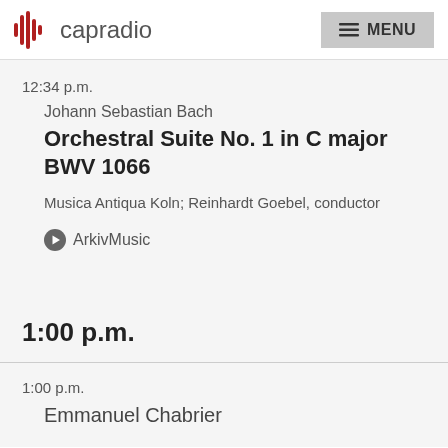capradio  MENU
12:34 p.m.
Johann Sebastian Bach
Orchestral Suite No. 1 in C major BWV 1066
Musica Antiqua Koln; Reinhardt Goebel, conductor
ArkivMusic
1:00 p.m.
1:00 p.m.
Emmanuel Chabrier